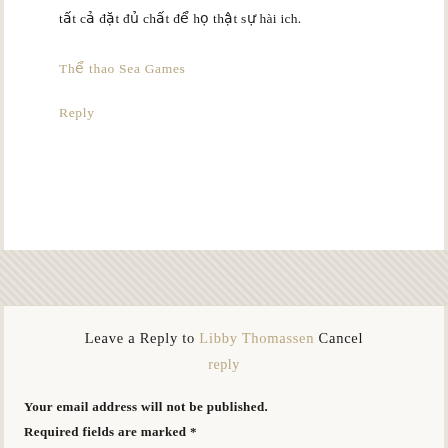tất cả đặt đủ chất để họ thật sự hài ich.
Thể thao Sea Games
Reply
Leave a Reply to Libby Thomassen Cancel reply
Your email address will not be published. Required fields are marked *
Comment